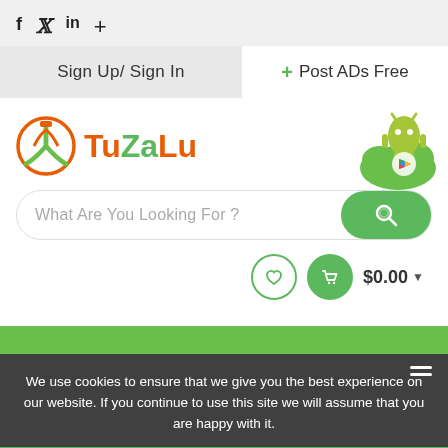[Figure (screenshot): TuZaLu website screenshot showing social icons (f, Twitter, in, +), Sign Up/Sign In button, Post ADs Free button, TuZaLu logo, Android app badge, search bar 'What Are You Looking For?', wishlist and cart icons with $0.00, green navigation bar, cookie consent overlay, and bottom navigation bar with All Categories and Ok button.]